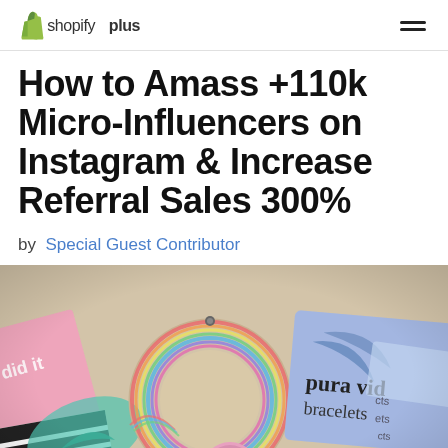shopifyplus (logo) [hamburger menu]
How to Amass +110k Micro-Influencers on Instagram & Increase Referral Sales 300%
by Special Guest Contributor
[Figure (photo): Flat lay photo of Pura Vida bracelets and branded packaging/cards on a light sandy background, showing colorful string bracelets and the 'pura vida bracelets' logo on cards.]